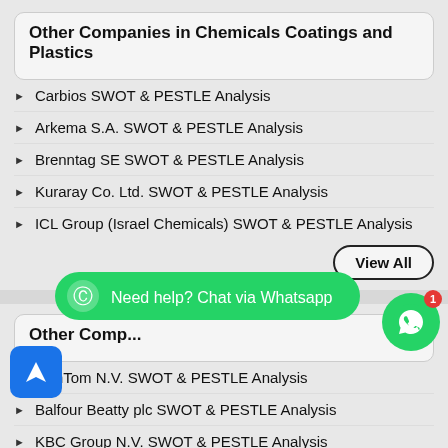Other Companies in Chemicals Coatings and Plastics
Carbios SWOT & PESTLE Analysis
Arkema S.A. SWOT & PESTLE Analysis
Brenntag SE SWOT & PESTLE Analysis
Kuraray Co. Ltd. SWOT & PESTLE Analysis
ICL Group (Israel Chemicals) SWOT & PESTLE Analysis
View All
Other Comp...
[Figure (infographic): WhatsApp chat support overlay button with green background and text 'Need help? Chat via Whatsapp' with notification badge showing 1]
TomTom N.V. SWOT & PESTLE Analysis
Balfour Beatty plc SWOT & PESTLE Analysis
KBC Group N.V. SWOT & PESTLE Analysis
oupa Finance plc SWOT & PESTLE Analysis
Deutche Pfandbriefbank AG SWOT & PESTLE Analysis